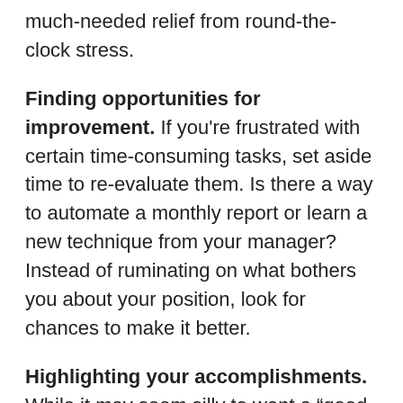much-needed relief from round-the-clock stress.
Finding opportunities for improvement. If you're frustrated with certain time-consuming tasks, set aside time to re-evaluate them. Is there a way to automate a monthly report or learn a new technique from your manager? Instead of ruminating on what bothers you about your position, look for chances to make it better.
Highlighting your accomplishments. While it may seem silly to want a “good job” after every assignment, research shows it majorly contributes to worker satisfaction. Don’t let your wins fly under the radar. Instead, mention them to upper management